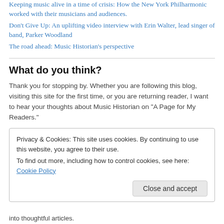Keeping music alive in a time of crisis: How the New York Philharmonic worked with their musicians and audiences.
Don't Give Up: An uplifting video interview with Erin Walter, lead singer of band, Parker Woodland
The road ahead: Music Historian's perspective
What do you think?
Thank you for stopping by. Whether you are following this blog, visiting this site for the first time, or you are returning reader, I want to hear your thoughts about Music Historian on “A Page for My Readers.”
Privacy & Cookies: This site uses cookies. By continuing to use this website, you agree to their use.
To find out more, including how to control cookies, see here: Cookie Policy
into thoughtful articles.